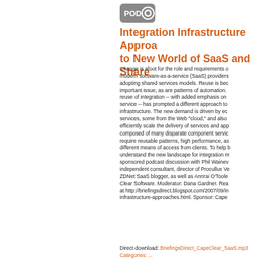[Figure (logo): POD podcast icon — grey rounded rectangle with POD text and circular play button icon]
Integration Infrastructure Approaches to New World of SaaS and Shared Services
Change is afoot for the role and requirements of modern software-as-a-service (SaaS) providers adopting shared services models. Reuse is becoming an important issue, as are patterns of automation. The reuse of integration -- with added emphasis on self-service -- has prompted a different approach to integration infrastructure. The new demand is driven by ecosystems of services, some from the Web "cloud," and also the need to efficiently scale the delivery of services and applications composed of many disparate component services. These require reusable patterns, high performance, as well as different means of access from clients. To help BriefingsDirect understand the new landscape for integration middleware, in a sponsored podcast discussion with Phil Wainwright, independent consultant, director of Procullux Ventures, and ZDNet SaaS blogger, as well as Annrai O'Toole of Cape Clear Software. Moderator: Dana Gardner. Read the full blog at http://briefingsdirect.blogspot.com/2007/09/integration-infrastructure-approaches.html. Sponsor: Cape Clear.
Direct download: BriefingsDirect_CapeClear_SaaS.mp3